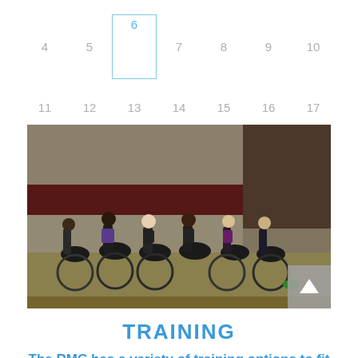[Figure (other): Calendar navigation row showing days 4 through 10, with day 6 highlighted in a blue bordered box]
[Figure (other): Calendar navigation row showing days 11 through 17]
[Figure (photo): Group of cyclists on stationary bikes/trainers in a gymnasium or large indoor facility, multiple riders in athletic gear]
TRAINING
The RMC has a variety of training options to fit all skill